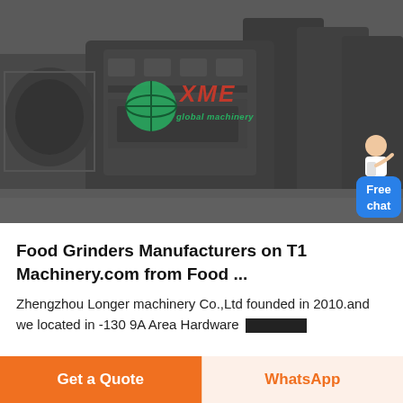[Figure (photo): Industrial machinery/grinders in a factory warehouse setting with XME brand logo overlay and a Free chat widget in the upper right corner]
Food Grinders Manufacturers on T1 Machinery.com from Food ...
Zhengzhou Longer machinery Co.,Ltd founded in 2010.and we located in -130 9A Area Hardware [redacted]